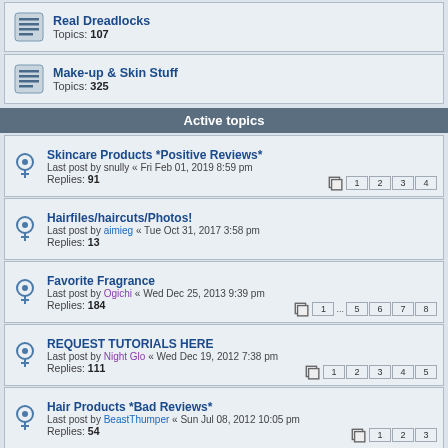Real Dreadlocks — Topics: 107
Make-up & Skin Stuff — Topics: 325
Active topics
Skincare Products *Positive Reviews* — Last post by snully « Fri Feb 01, 2019 8:59 pm — Replies: 91
Hairfiles/haircuts/Photos! — Last post by aimieg « Tue Oct 31, 2017 3:58 pm — Replies: 13
Favorite Fragrance — Last post by Ogichi « Wed Dec 25, 2013 9:39 pm — Replies: 184
REQUEST TUTORIALS HERE — Last post by Night Glo « Wed Dec 19, 2012 7:38 pm — Replies: 111
Hair Products *Bad Reviews* — Last post by BeastThumper « Sun Jul 08, 2012 10:05 pm — Replies: 54
Lush lovers unite — Last post by VixenSingsBlack « Sun May 06, 2012 3:35 pm — Replies: 1671
Hair Products *Positive Reviews*